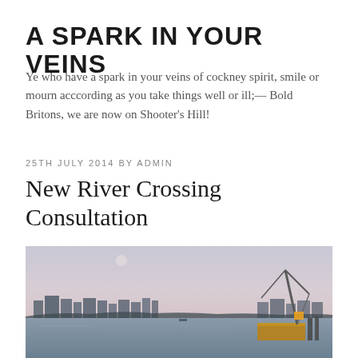A SPARK IN YOUR VEINS
Ye who have a spark in your veins of cockney spirit, smile or mourn acccording as you take things well or ill;— Bold Britons, we are now on Shooter's Hill!
25TH JULY 2014 BY ADMIN
New River Crossing Consultation
[Figure (photo): A wide river scene at dusk showing a cityscape on the far bank with buildings and a large crane on a barge in the foreground right. The sky is hazy and pale, reflecting off the calm river water.]